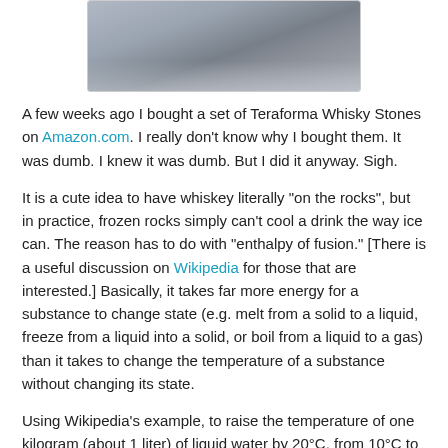[Figure (photo): Photo of Teraforma Whisky Stones – gray stone cubes on a light fabric surface]
A few weeks ago I bought a set of Teraforma Whisky Stones on Amazon.com. I really don't know why I bought them. It was dumb. I knew it was dumb. But I did it anyway. Sigh.
It is a cute idea to have whiskey literally "on the rocks", but in practice, frozen rocks simply can't cool a drink the way ice can. The reason has to do with "enthalpy of fusion." [There is a useful discussion on Wikipedia for those that are interested.] Basically, it takes far more energy for a substance to change state (e.g. melt from a solid to a liquid, freeze from a liquid into a solid, or boil from a liquid to a gas) than it takes to change the temperature of a substance without changing its state.
Using Wikipedia's example, to raise the temperature of one kilogram (about 1 liter) of liquid water by 20°C, from 10°C to 30°C (50°F to 86°F) requires 83.6 kJ (kilojoules) of energy.